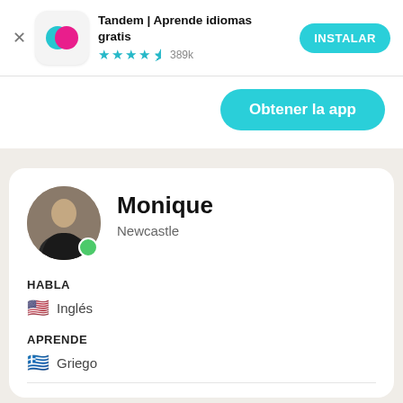[Figure (screenshot): Tandem app install banner with logo, name, stars rating 389k, and INSTALAR button]
Tandem | Aprende idiomas gratis
★★★★☆ 389k
INSTALAR
Obtener la app
Monique
Newcastle
HABLA
Inglés
APRENDE
Griego
Mi asesoría de intercambio de idiomas...